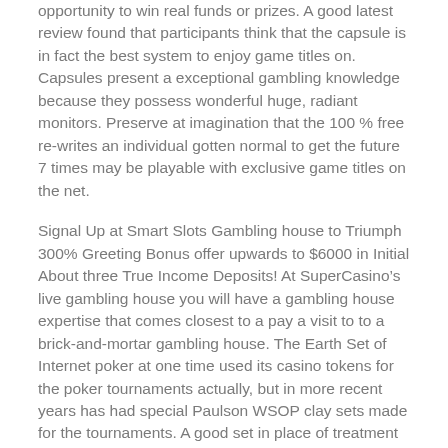opportunity to win real funds or prizes. A good latest review found that participants think that the capsule is in fact the best system to enjoy game titles on. Capsules present a exceptional gambling knowledge because they possess wonderful huge, radiant monitors. Preserve at imagination that the 100 % free re-writes an individual gotten normal to get the future 7 times may be playable with exclusive game titles on the net.
Signal Up at Smart Slots Gambling house to Triumph 300% Greeting Bonus offer upwards to $6000 in Initial About three True Income Deposits! At SuperCasino's live gambling house you will have a gambling house expertise that comes closest to a pay a visit to to a brick-and-mortar gambling house. The Earth Set of Internet poker at one time used its casino tokens for the poker tournaments actually, but in more recent years has had special Paulson WSOP clay sets made for the tournaments. A good set in place of treatment molded Stomach muscles internet poker poker chips “hot-stamped” with denominations 100, 50, 25, & 10.
Light red debris usually possess a fabulous cost of between $2 and $2.50. For clients in the UK, PPB Counterparty Services Restricted, Betfair Casino Restricted, PPB Activity PPB and Minor Activities Minor might be licenced and regulated by the Poker Coo